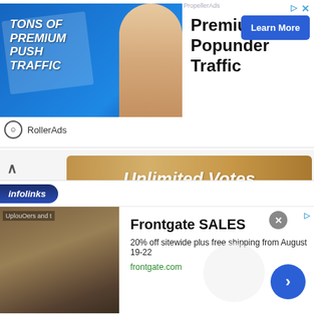[Figure (screenshot): RollerAds advertisement banner for Premium Popunder Traffic with Learn More button]
[Figure (screenshot): Unlimited Votes button with golden/tan gradient background and collapse arrow]
To qualify as the greatest player for this team, the player must have played one season for this team. If not, we will remove the player.
* verifies that player has played for this team as an added player by a fan.
[Figure (screenshot): Infolinks bottom ad banner for Frontgate SALES - 20% off sitewide plus free shipping from August 19-22, frontgate.com]